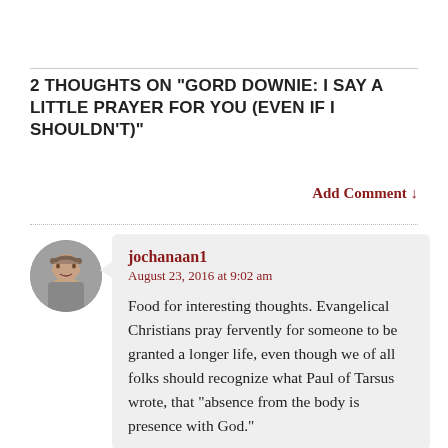2 THOUGHTS ON “GORD DOWNIE: I SAY A LITTLE PRAYER FOR YOU (EVEN IF I SHOULDN’T)”
Add Comment ↓
jochanaan1
August 23, 2016 at 9:02 am

Food for interesting thoughts. Evangelical Christians pray fervently for someone to be granted a longer life, even though we of all folks should recognize what Paul of Tarsus wrote, that “absence from the body is presence with God.”